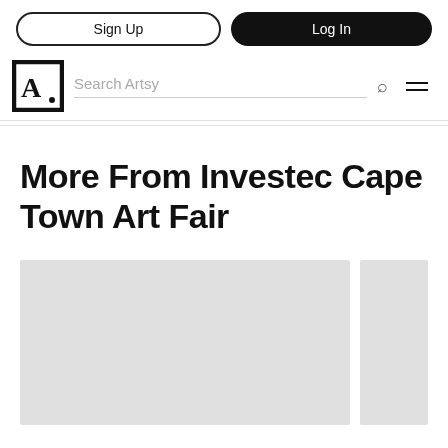Sign Up | Log In
Search Artsy
More From Investec Cape Town Art Fair
[Figure (photo): Two gray placeholder image cards side by side, partially visible at the bottom of the page]